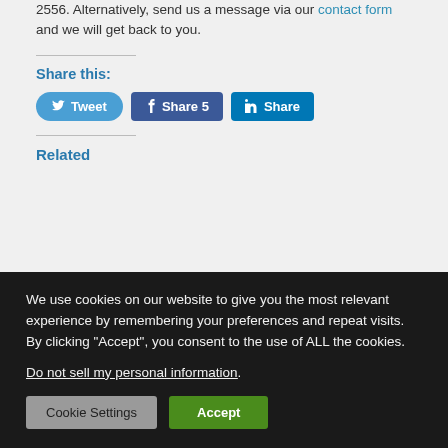2556. Alternatively, send us a message via our contact form and we will get back to you.
Share this:
[Figure (other): Social share buttons: Tweet, Share 5 (Facebook), Share (LinkedIn)]
Related
We use cookies on our website to give you the most relevant experience by remembering your preferences and repeat visits. By clicking “Accept”, you consent to the use of ALL the cookies.
Do not sell my personal information.
[Figure (other): Cookie consent buttons: Cookie Settings and Accept]